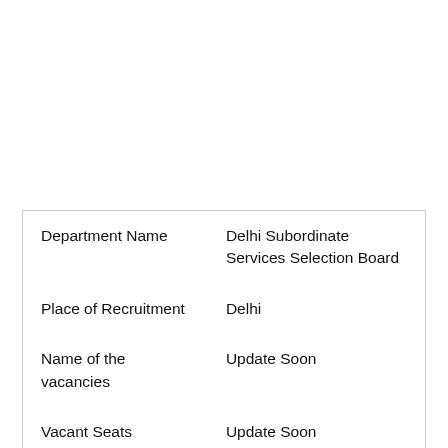| Department Name | Delhi Subordinate Services Selection Board |
| Place of Recruitment | Delhi |
| Name of the vacancies | Update Soon |
| Vacant Seats | Update Soon |
| Application Mode | Online |